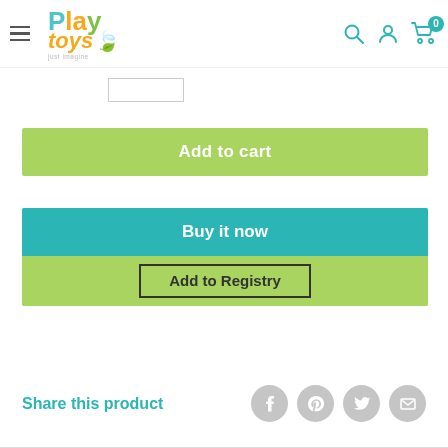[Figure (screenshot): Play Toys website header with hamburger menu, colorful Play Toys logo, search icon, account icon, and cart icon with 0 badge]
[Figure (screenshot): Quantity input box (white rectangle with border)]
Add to cart
Buy it now
Add to Registry
Share this product
[Figure (screenshot): Social share icons: Facebook, Pinterest, Twitter, Email (gray circles)]